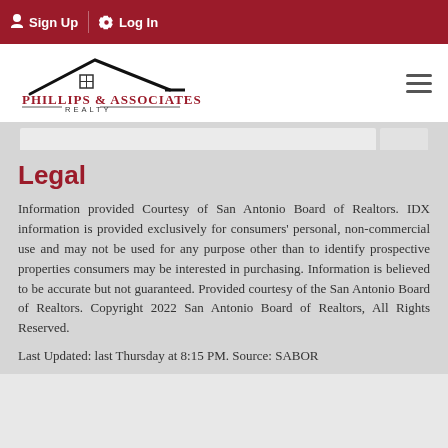Sign Up  Log In
[Figure (logo): Phillips & Associates Realty logo with house roofline silhouette and grid window icon]
Legal
Information provided Courtesy of San Antonio Board of Realtors. IDX information is provided exclusively for consumers' personal, non-commercial use and may not be used for any purpose other than to identify prospective properties consumers may be interested in purchasing. Information is believed to be accurate but not guaranteed. Provided courtesy of the San Antonio Board of Realtors. Copyright 2022 San Antonio Board of Realtors, All Rights Reserved.
Last Updated: last Thursday at 8:15 PM. Source: SABOR